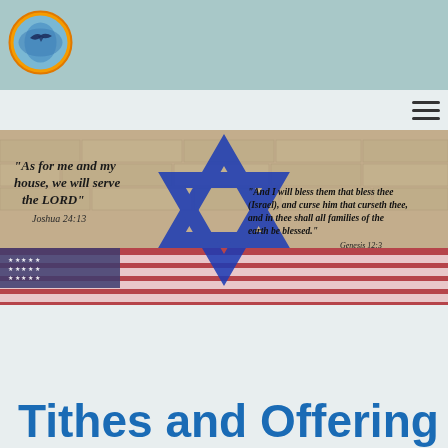[Figure (logo): Circular logo with globe/bird icon, orange border, on teal header background]
[Figure (illustration): Banner image combining Western Wall stones, Star of David in blue, American flag, with biblical scripture text: 'As for me and my house, we will serve the LORD' Joshua 24:13 on left, and 'And I will bless them that bless thee (Israel), and curse him that curseth thee, and in thee shall all families of the earth be blessed.' Genesis 12:3 on right]
Tithes and Offering